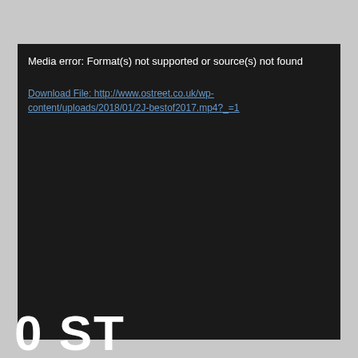Media error: Format(s) not supported or source(s) not found
Download File: http://www.ostreet.co.uk/wp-content/uploads/2018/01/2J-bestof2017.mp4?_=1
0 ST